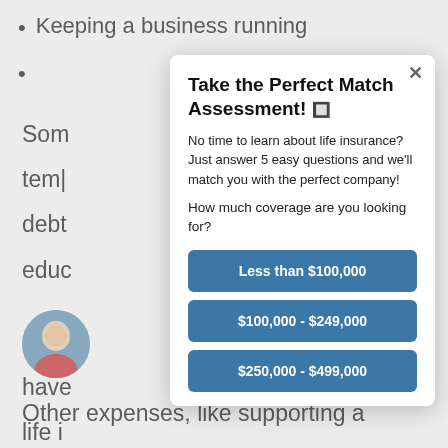Keeping a business running
Take the Perfect Match Assessment! 🔲
No time to learn about life insurance?  Just answer 5 easy questions and we'll match you with the perfect company!
How much coverage are you looking for?
Less than $100,000
$100,000 - $249,000
$250,000 - $499,000
Other expenses, like supporting a